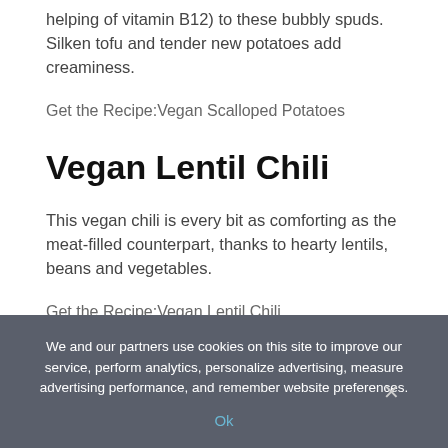helping of vitamin B12) to these bubbly spuds. Silken tofu and tender new potatoes add creaminess.
Get the Recipe:Vegan Scalloped Potatoes
Vegan Lentil Chili
This vegan chili is every bit as comforting as the meat-filled counterpart, thanks to hearty lentils, beans and vegetables.
Get the Recipe:Vegan Lentil Chili
The Best Crispy Tofu
We and our partners use cookies on this site to improve our service, perform analytics, personalize advertising, measure advertising performance, and remember website preferences.
Ok